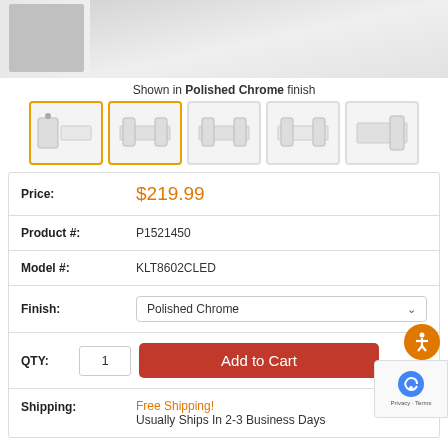[Figure (photo): Product image of bathroom vanity light in Polished Chrome finish, shown at top of page]
Shown in Polished Chrome finish
[Figure (photo): Thumbnail gallery of 5 bathroom vanity light product images in various angles]
| Price: | $219.99 |
| Product #: | P1521450 |
| Model #: | KLT8602CLED |
| Finish: | Polished Chrome |
| QTY: | 1  [Add to Cart] |
| Shipping: | Free Shipping!
Usually Ships In 2-3 Business Days |